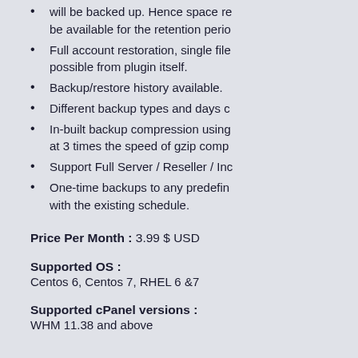will be backed up. Hence space re... be available for the retention perio...
Full account restoration, single file... possible from plugin itself.
Backup/restore history available.
Different backup types and days c...
In-built backup compression using... at 3 times the speed of gzip comp...
Support Full Server / Reseller / Inc...
One-time backups to any predefin... with the existing schedule.
Price Per Month : 3.99 $ USD
Supported OS :
Centos 6, Centos 7, RHEL 6 &7
Supported cPanel versions :
WHM 11.38 and above
Dependencies :
Ensure that pigz is on. For this follow t...
Login to your WHM interface >> Tw...